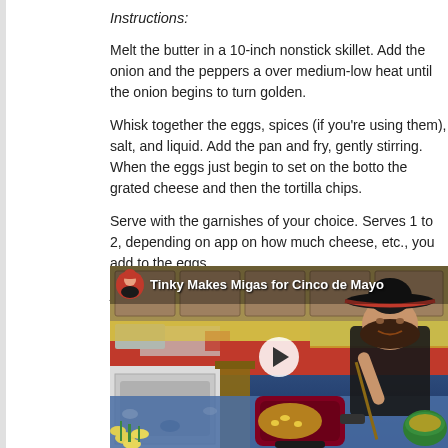Instructions:
Melt the butter in a 10-inch nonstick skillet. Add the onion and the peppers a... over medium-low heat until the onion begins to turn golden.
Whisk together the eggs, spices (if you’re using them), salt, and liquid. Add... the pan and fry, gently stirring. When the eggs just begin to set on the botto... the grated cheese and then the tortilla chips.
Serve with the garnishes of your choice. Serves 1 to 2, depending on app... on how much cheese, etc., you add to the eggs.
And now, the video I made for Mass Appeal:
[Figure (screenshot): Video thumbnail showing a woman in a sombrero making Migas for Cinco de Mayo in a kitchen, with title 'Tinky Makes Migas for Cinco de Mayo' and a play button overlay.]